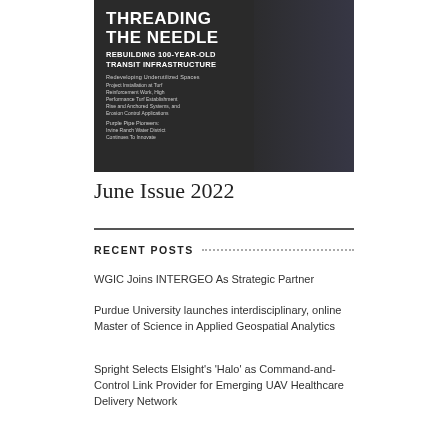[Figure (photo): Magazine cover image showing elevated transit infrastructure (highway overpass/rail structure) with white overlaid text: 'THREADING THE NEEDLE — REBUILDING 100-YEAR-OLD TRANSIT INFRASTRUCTURE'. Also contains smaller text about content topics including 'Redeveloping Underutilized Spaces', project installation details, and 'Purple Pipe Pioneers: Irvine Ranch Water District Continues To Innovate'.]
June Issue 2022
RECENT POSTS
WGIC Joins INTERGEO As Strategic Partner
Purdue University launches interdisciplinary, online Master of Science in Applied Geospatial Analytics
Spright Selects Elsight's 'Halo' as Command-and-Control Link Provider for Emerging UAV Healthcare Delivery Network